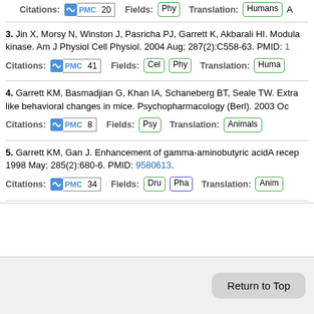Citations: PMC 20   Fields: Phy   Translation: Humans A...
3. Jin X, Morsy N, Winston J, Pasricha PJ, Garrett K, Akbarali HI. Modula... kinase. Am J Physiol Cell Physiol. 2004 Aug; 287(2):C558-63. PMID: 1...
Citations: PMC 41   Fields: Cel Phy   Translation: Huma...
4. Garrett KM, Basmadjian G, Khan IA, Schaneberg BT, Seale TW. Extra... like behavioral changes in mice. Psychopharmacology (Berl). 2003 Oc...
Citations: PMC 8   Fields: Psy   Translation: Animals
5. Garrett KM, Gan J. Enhancement of gamma-aminobutyric acidA recep... 1998 May; 285(2):680-6. PMID: 9580613.
Citations: PMC 34   Fields: Dru Pha   Translation: Anim...
Return to Top